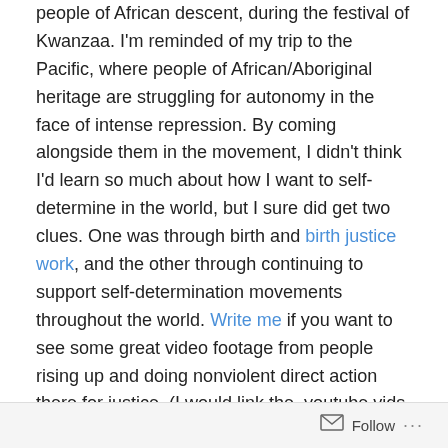people of African descent, during the festival of Kwanzaa. I'm reminded of my trip to the Pacific, where people of African/Aboriginal heritage are struggling for autonomy in the face of intense repression. By coming alongside them in the movement, I didn't think I'd learn so much about how I want to self-determine in the world, but I sure did get two clues. One was through birth and birth justice work, and the other through continuing to support self-determination movements throughout the world. Write me if you want to see some great video footage from people rising up and doing nonviolent direct action there for justice. (I would link the  youtube vids into the blog, but that would mainly help those who are hired to cyber-attack and trace international activists working with grassroots leaders to change the oppressive systems).
Follow ...